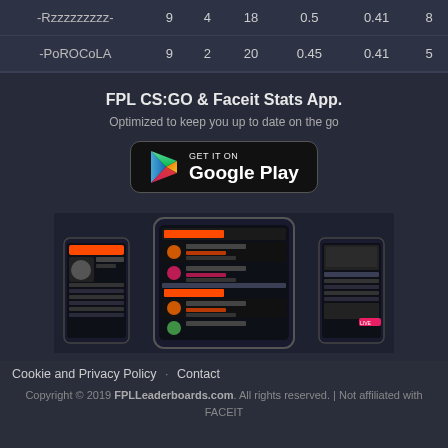| -Rzzzzzzzzz- | 9 | 4 | 18 | 0.5 | 0.41 | 8 |
| -PoROCoLA | 9 | 2 | 20 | 0.45 | 0.41 | 5 |
FPL CS:GO & Faceit Stats App.
Optimized to keep you up to date on the go
[Figure (logo): GET IT ON Google Play badge]
[Figure (screenshot): Mobile app screenshots showing FPL CS:GO stats]
Cookie and Privacy Policy · Contact
Copyright © 2019 FPLLeaderboards.com. All rights reserved. | Not affiliated with FACEIT